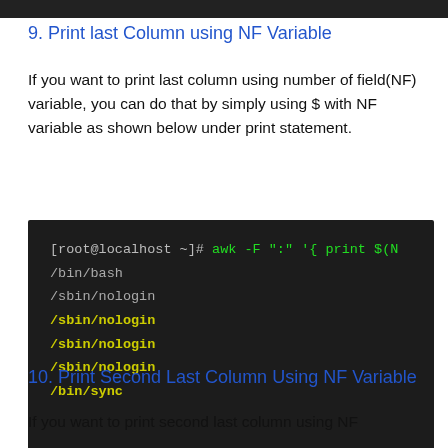9. Print last Column using NF Variable
If you want to print last column using number of field(NF) variable, you can do that by simply using $ with NF variable as shown below under print statement.
[Figure (screenshot): Terminal screenshot showing awk command: [root@localhost ~]# awk -F ":" '{ print $(N with output lines: /bin/bash, /sbin/nologin, /sbin/nologin (yellow/bold), /sbin/nologin (yellow/bold), /sbin/nologin (yellow/bold), /bin/sync (yellow/bold)]
10. Print Second Last Column Using NF Variable
If you want to print second last column using NF